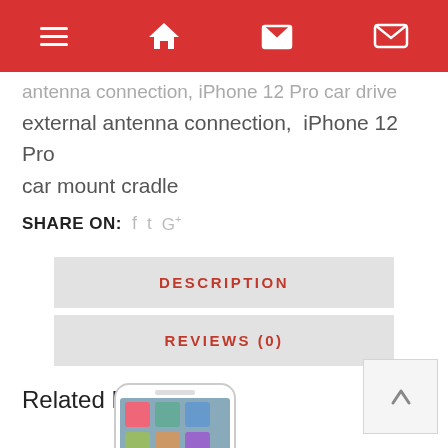Navigation bar with menu, home, cart, and mail icons
antenna connection, iPhone 12 Pro car drive external antenna connection, iPhone 12 Pro car mount cradle
SHARE ON: f t G+
DESCRIPTION
REVIEWS (0)
Related Products
[Figure (photo): iPhone product image shown at the bottom of the page]